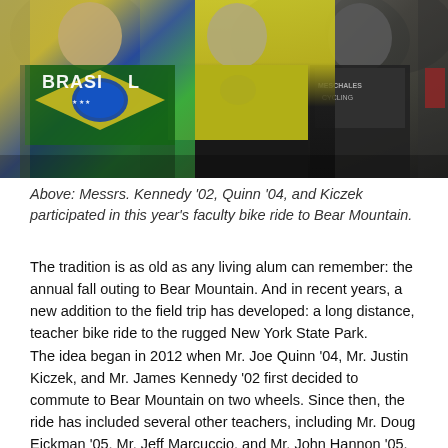[Figure (photo): Three men in cycling jerseys standing together outdoors. The leftmost wears a Brazil (BRASIL) flag-themed jersey, the center wears a yellow jersey, and the rightmost wears a dark cycling jersey. Trees visible in background.]
Above: Messrs. Kennedy '02, Quinn '04, and Kiczek participated in this year's faculty bike ride to Bear Mountain.
The tradition is as old as any living alum can remember: the annual fall outing to Bear Mountain. And in recent years, a new addition to the field trip has developed: a long distance, teacher bike ride to the rugged New York State Park.
The idea began in 2012 when Mr. Joe Quinn '04, Mr. Justin Kiczek, and Mr. James Kennedy '02 first decided to commute to Bear Mountain on two wheels. Since then, the ride has included several other teachers, including Mr. Doug Eickman '05, Mr. Jeff Marcuccio, and Mr. John Hannon '05. It has also included some friends and even a non-teaching alumnus, Jonathan Picarello '02.